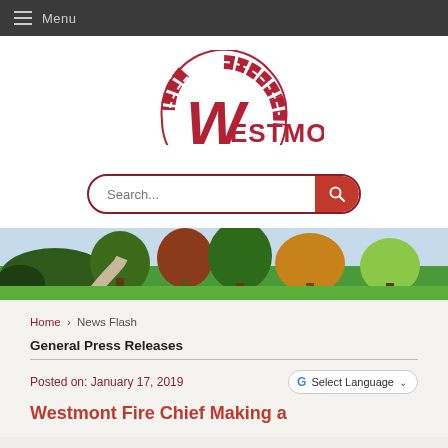Menu
[Figure (logo): Westmont city logo with brick W letter and circular brick arc, red color, text WESTMONT]
[Figure (photo): Panoramic park scene with green grass, trees with autumn foliage, pathway, blue sky]
Home › News Flash
General Press Releases
Posted on: January 17, 2019
Westmont Fire Chief Making a